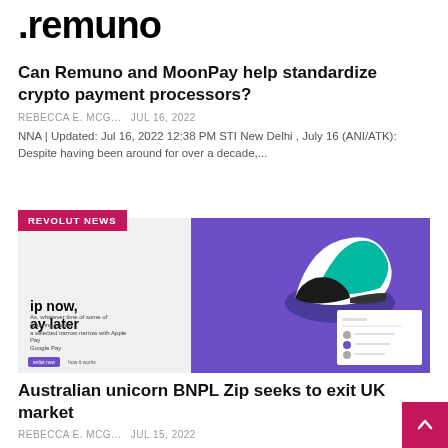.remuno
Can Remuno and MoonPay help standardize crypto payment processors?
REBECCA E. MCG...   Jul 16, 2022
NNA | Updated: Jul 16, 2022 12:38 PM STI New Delhi , July 16 (ANI/ATK): Despite having been around for over a decade,...
[Figure (screenshot): Revolut News advertisement screenshot showing 'ip now, ay later' buy now pay later promotion with a sneaker image on purple background]
Australian unicorn BNPL Zip seeks to exit UK market
REBECCA E. MCG...   Jul 15, 2022